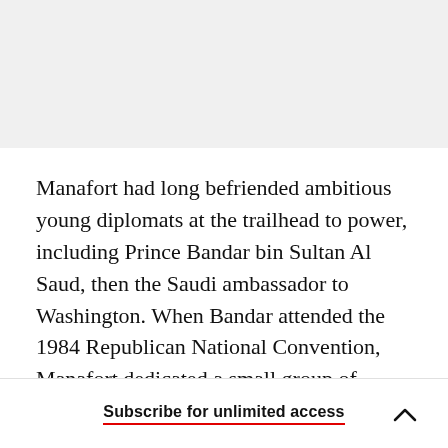Manafort had long befriended ambitious young diplomats at the trailhead to power, including Prince Bandar bin Sultan Al Saud, then the Saudi ambassador to Washington. When Bandar attended the 1984 Republican National Convention, Manafort dedicated a small group of advance men to smooth his way. Manafort arranged for Bandar to arrive at the presidential entrance, then had him
Subscribe for unlimited access